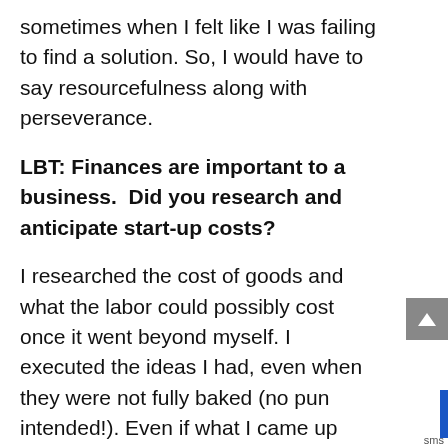sometimes when I felt like I was failing to find a solution. So, I would have to say resourcefulness along with perseverance.
LBT: Finances are important to a business.  Did you research and anticipate start-up costs?
I researched the cost of goods and what the labor could possibly cost once it went beyond myself. I executed the ideas I had, even when they were not fully baked (no pun intended!). Even if what I came up with could be better, I still released the best that I could do at the time and would improve upon it as I could afford to. It really helped me keep my finger on the pulse of what was going on with the consumer. I used my own money and kept reinvesting the first two